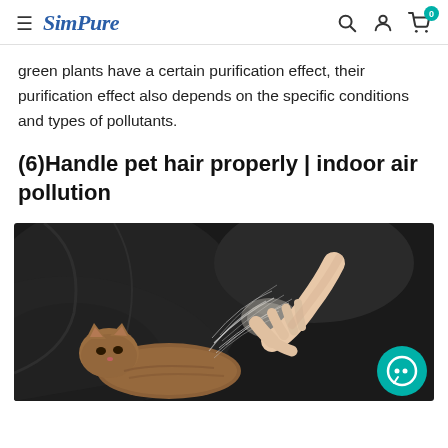SimPure
green plants have a certain purification effect, their purification effect also depends on the specific conditions and types of pollutants.
(6)Handle pet hair properly | indoor air pollution
[Figure (photo): A person's hand pulling pet hair (possibly cat fur) from a cat lying on a dark couch or fabric surface. A teal chat bubble icon is visible in the bottom right corner.]